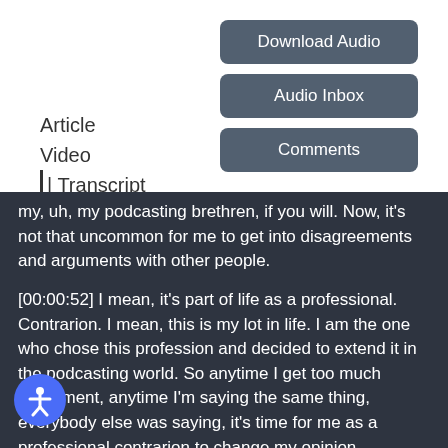Article
Video
| Transcript
Download Audio
Audio Inbox
Comments
my, uh, my podcasting brethren, if you will. Now, it's not that uncommon for me to get into disagreements and arguments with other people.
[00:00:52] I mean, it's part of life as a professional. Contrarion. I mean, this is my lot in life. I am the one who chose this profession and decided to extend it in the podcasting world. So anytime I get too much agreement, anytime I'm saying the same thing, everybody else was saying, it's time for me as a professional contrarion to change my opinion.
[00:01:16] So it's okay that I'm on my own with